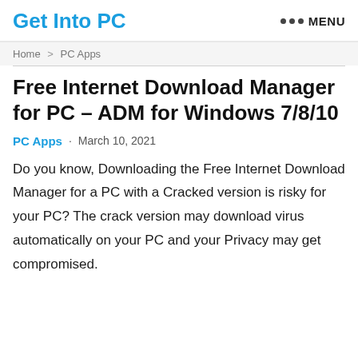Get Into PC  ••• MENU
Home > PC Apps
Free Internet Download Manager for PC – ADM for Windows 7/8/10
PC Apps · March 10, 2021
Do you know, Downloading the Free Internet Download Manager for a PC with a Cracked version is risky for your PC? The crack version may download virus automatically on your PC and your Privacy may get compromised.